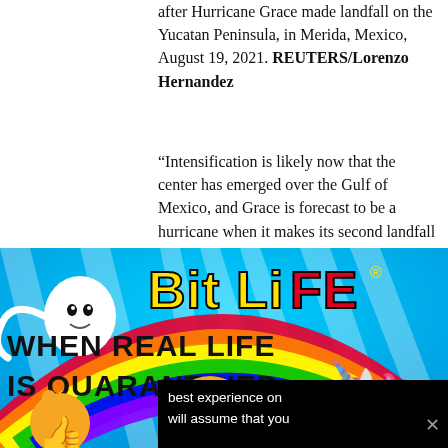after Hurricane Grace made landfall on the Yucatan Peninsula, in Merida, Mexico, August 19, 2021. REUTERS/Lorenzo Hernandez
“Intensification is likely now that the center has emerged over the Gulf of Mexico, and Grace is forecast to be a hurricane when it makes its second landfall on the mainland
rly date. ter Grace o.”
4-8 inches
[Figure (illustration): BitLife mobile game advertisement showing sperm character, rainbow, unicorn, thumbs up emoji, and text: BitLife - When Real Life Is Quarantined]
best experience on will assume that you